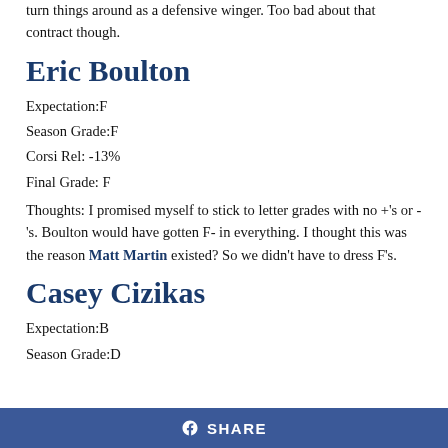turn things around as a defensive winger. Too bad about that contract though.
Eric Boulton
Expectation:F
Season Grade:F
Corsi Rel: -13%
Final Grade: F
Thoughts: I promised myself to stick to letter grades with no +'s or -'s. Boulton would have gotten F- in everything. I thought this was the reason Matt Martin existed? So we didn't have to dress F's.
Casey Cizikas
Expectation:B
Season Grade:D
f SHARE